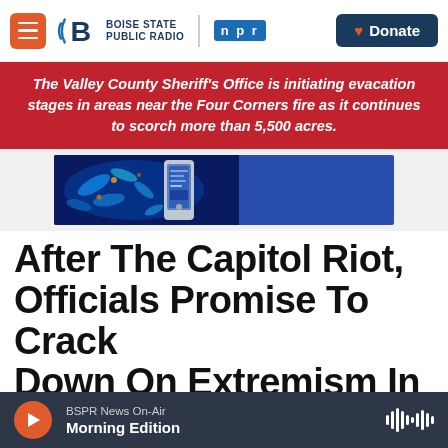Boise State Public Radio | NPR | Donate
The Valley County Sheriff's Office is initiating evacation stages in areas near the Four Corners fire as it continues to scorch more than 5,500 acres.
[Figure (photo): Advertisement banner with microscope imagery of blue bacteria/microbes on left and a smartphone/device graphic in center, with blue background on right]
After The Capitol Riot, Officials Promise To Crack Down On Extremism In The Milit…
BSPR News On-Air — Morning Edition